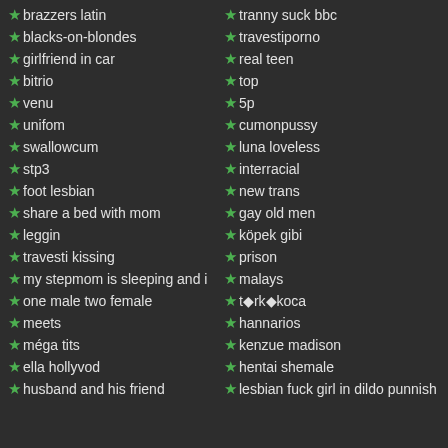★brazzers latin
★blacks-on-blondes
★girlfriend in car
★bitrio
★venu
★unifom
★swallowcum
★stp3
★foot lesbian
★share a bed with mom
★leggin
★travesti kissing
★my stepmom is sleeping and i
★one male two female
★meets
★méga tits
★ella hollyvod
★husband and his friend
★tranny suck bbc
★travestiporno
★real teen
★top
★5p
★cumonpussy
★luna loveless
★interracial
★new trans
★gay old men
★köpek gibi
★prison
★malays
★t◆rk◆koca
★hannarios
★kenzue madison
★hentai shemale
★lesbian fuck girl in dildo punnish